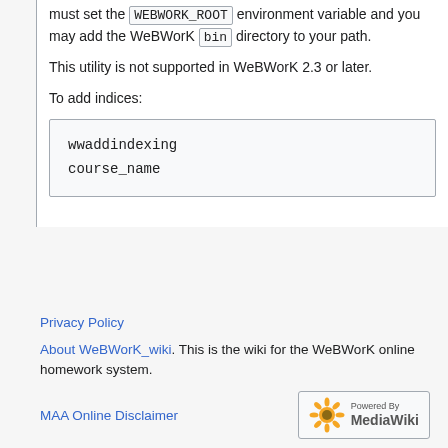must set the WEBWORK_ROOT environment variable and you may add the WeBWorK bin directory to your path.
This utility is not supported in WeBWorK 2.3 or later.
To add indices:
Privacy Policy
About WeBWorK_wiki. This is the wiki for the WeBWorK online homework system.
MAA Online Disclaimer